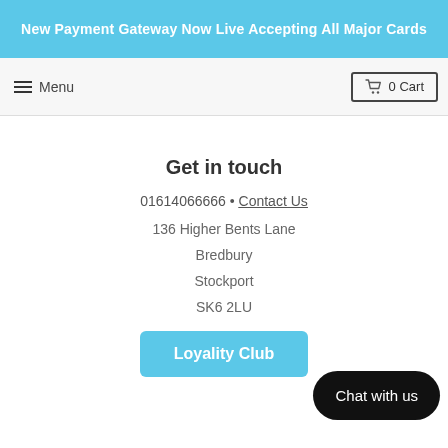New Payment Gateway Now Live Accepting All Major Cards
≡ Menu   🛒 0 Cart
Get in touch
01614066666 • Contact Us
136 Higher Bents Lane
Bredbury
Stockport
SK6 2LU
Loyality Club
Chat with us